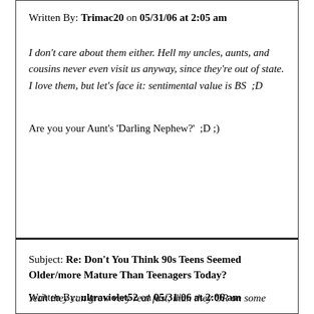Written By: Trimac20 on 05/31/06 at 2:05 am
I don't care about them either. Hell my uncles, aunts, and cousins never even visit us anyway, since they're out of state. I love them, but let's face it: sentimental value is BS  ;D
Are you your Aunt's 'Darling Nephew?'  ;D ;)
Subject: Re: Don't You Think 90s Teens Seemed Older/more Mature Than Teenagers Today?
Written By: ultraviolet52 on 05/31/06 at 2:06 am
Yeah they can grow very real fast, than they OR on some